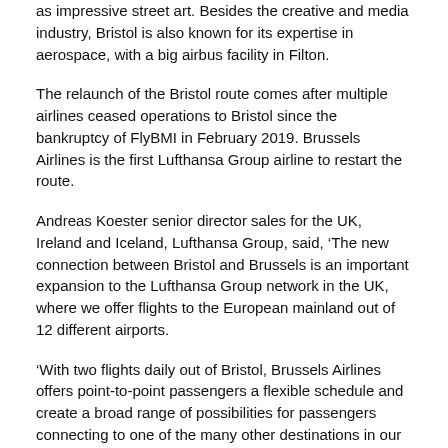as impressive street art. Besides the creative and media industry, Bristol is also known for its expertise in aerospace, with a big airbus facility in Filton.
The relaunch of the Bristol route comes after multiple airlines ceased operations to Bristol since the bankruptcy of FlyBMI in February 2019. Brussels Airlines is the first Lufthansa Group airline to restart the route.
Andreas Koester senior director sales for the UK, Ireland and Iceland, Lufthansa Group, said, ‘The new connection between Bristol and Brussels is an important expansion to the Lufthansa Group network in the UK, where we offer flights to the European mainland out of 12 different airports.
‘With two flights daily out of Bristol, Brussels Airlines offers point-to-point passengers a flexible schedule and create a broad range of possibilities for passengers connecting to one of the many other destinations in our network.’
Brussels Airlines now connects five cities in the UK with Brussels, the capital of Europe. Next to Bristol, the airline’s network also includes Birmingham, Edinburgh, London and Manchester.